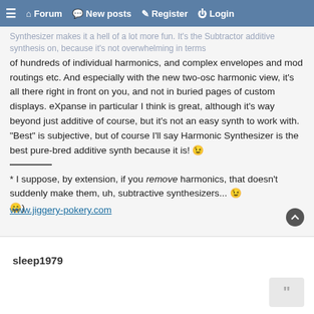Forum | New posts | Register | Login
of hundreds of individual harmonics, and complex envelopes and mod routings etc. And especially with the new two-osc harmonic view, it's all there right in front on you, and not in buried pages of custom displays. eXpanse in particular I think is great, although it's way beyond just additive of course, but it's not an easy synth to work with. "Best" is subjective, but of course I'll say Harmonic Synthesizer is the best pure-bred additive synth because it is! 😉
* I suppose, by extension, if you remove harmonics, that doesn't suddenly make them, uh, subtractive synthesizers... 😉 😄)
www.jiggery-pokery.com
sleep1979